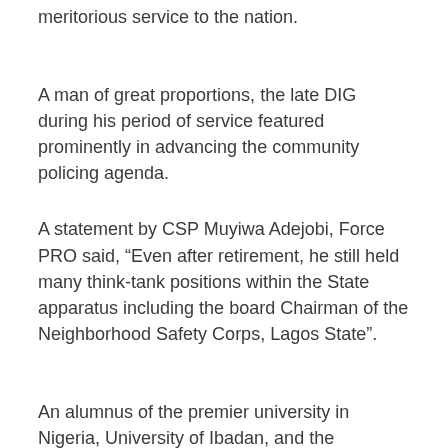meritorious service to the nation.
A man of great proportions, the late DIG during his period of service featured prominently in advancing the community policing agenda.
A statement by CSP Muyiwa Adejobi, Force PRO said, “Even after retirement, he still held many think-tank positions within the State apparatus including the board Chairman of the Neighborhood Safety Corps, Lagos State”.
An alumnus of the premier university in Nigeria, University of Ibadan, and the prestigious National Institute of Policy